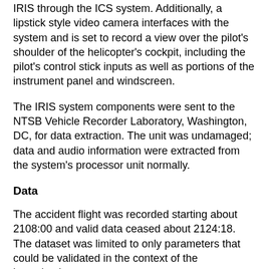IRIS through the ICS system. Additionally, a lipstick style video camera interfaces with the system and is set to record a view over the pilot's shoulder of the helicopter's cockpit, including the pilot's control stick inputs as well as portions of the instrument panel and windscreen.
The IRIS system components were sent to the NTSB Vehicle Recorder Laboratory, Washington, DC, for data extraction. The unit was undamaged; data and audio information were extracted from the system's processor unit normally.
Data
The accident flight was recorded starting about 2108:00 and valid data ceased about 2124:18. The dataset was limited to only parameters that could be validated in the context of the investigation.
Video
Video information associated with the accident flight was determined to not be useful to the investigation. The video